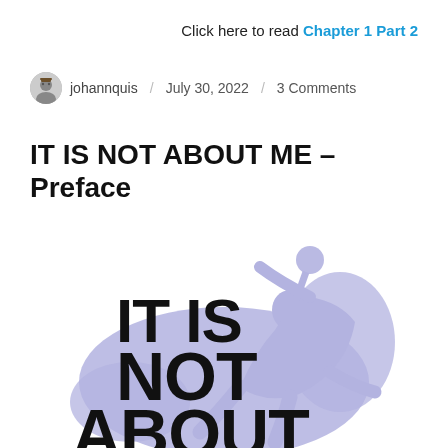Click here to read Chapter 1 Part 2
johannquis / July 30, 2022 / 3 Comments
IT IS NOT ABOUT ME – Preface
[Figure (illustration): Book cover or promotional image with bold black text 'IT IS NOT ABOUT' overlaid on a light purple/lavender silhouette of a running athlete figure with a ball]